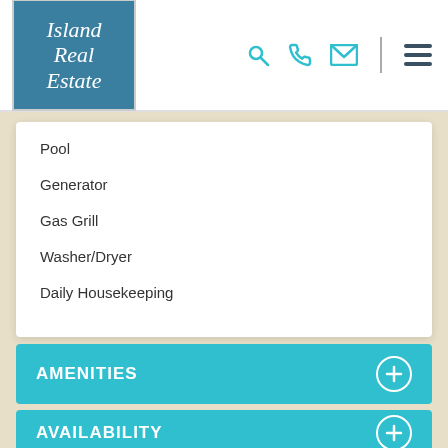Island Real Estate
Pool
Generator
Gas Grill
Washer/Dryer
Daily Housekeeping
AMENITIES
AVAILABILITY